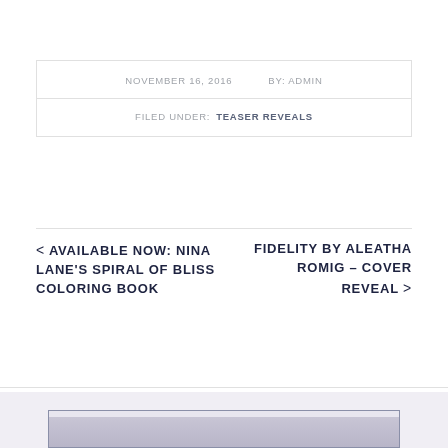NOVEMBER 16, 2016   BY: ADMIN
FILED UNDER: TEASER REVEALS
< AVAILABLE NOW: NINA LANE'S SPIRAL OF BLISS COLORING BOOK
FIDELITY BY ALEATHA ROMIG – COVER REVEAL >
[Figure (photo): Partially visible image with light purple/grey background and border, cropped at bottom of page]